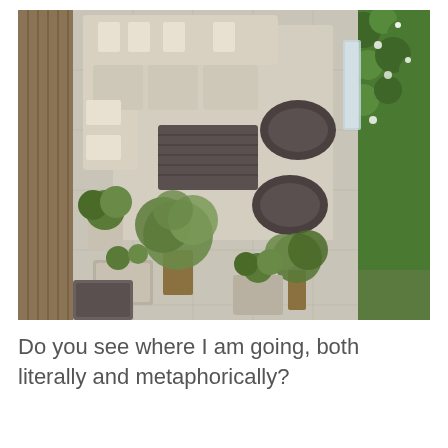[Figure (photo): Aerial/overhead view of a modern outdoor patio or rooftop terrace with beige sectional sofa seating, a dark rectangular coffee table, two round dark ottoman/stools, a large light-colored area rug, stone or concrete tile flooring, olive trees and green shrubs in planters, a living green wall with white flowers on the right side, and bamboo fencing on the left.]
Do you see where I am going, both literally and metaphorically?